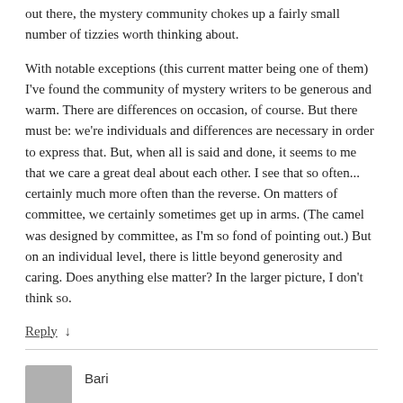out there, the mystery community chokes up a fairly small number of tizzies worth thinking about.
With notable exceptions (this current matter being one of them) I've found the community of mystery writers to be generous and warm. There are differences on occasion, of course. But there must be: we're individuals and differences are necessary in order to express that. But, when all is said and done, it seems to me that we care a great deal about each other. I see that so often... certainly much more often than the reverse. On matters of committee, we certainly sometimes get up in arms. (The camel was designed by committee, as I'm so fond of pointing out.) But on an individual level, there is little beyond generosity and caring. Does anything else matter? In the larger picture, I don't think so.
Reply ↓
Bari